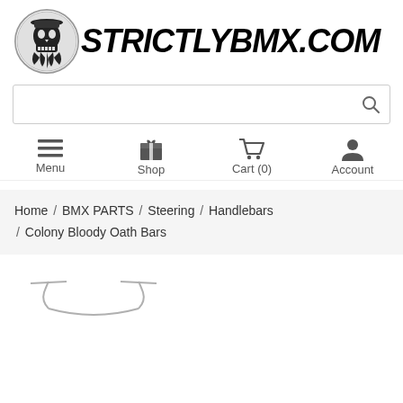[Figure (logo): StrictlyBMX.com logo with skull/pirate icon in circle and bold italic STRICTLYBMX.COM text]
Search bar
Menu  Shop  Cart (0)  Account
Home / BMX PARTS / Steering / Handlebars / Colony Bloody Oath Bars
[Figure (illustration): Partial outline illustration of BMX handlebars at bottom of page]